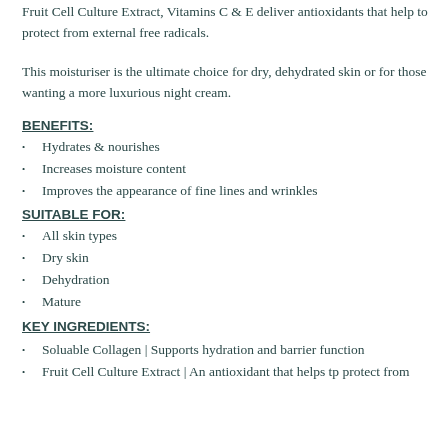Fruit Cell Culture Extract, Vitamins C & E deliver antioxidants that help to protect from external free radicals.
This moisturiser is the ultimate choice for dry, dehydrated skin or for those wanting a more luxurious night cream.
BENEFITS:
Hydrates & nourishes
Increases moisture content
Improves the appearance of fine lines and wrinkles
SUITABLE FOR:
All skin types
Dry skin
Dehydration
Mature
KEY INGREDIENTS:
Soluable Collagen | Supports hydration and barrier function
Fruit Cell Culture Extract | An antioxidant that helps tp protect from